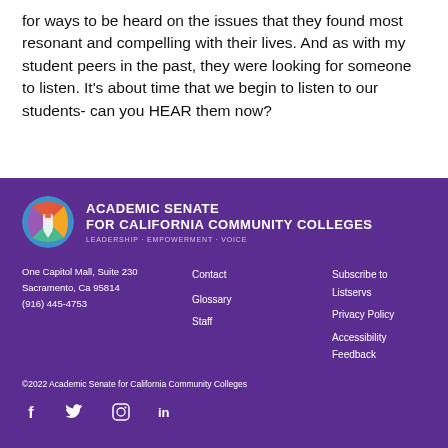for ways to be heard on the issues that they found most resonant and compelling with their lives. And as with my student peers in the past, they were looking for someone to listen. It's about time that we begin to listen to our students- can you HEAR them now?
[Figure (logo): Academic Senate for California Community Colleges logo with colorful circular emblem]
One Capitol Mall, Suite 230
Sacramento, Ca 95814
(916) 445-4753
Contact
Glossary
Staff
Subscribe to Listservs
Privacy Policy
Accessibility Feedback
©2022 Academic Senate for California Community Colleges
[Figure (illustration): Social media icons: Facebook, Twitter, Instagram, LinkedIn]